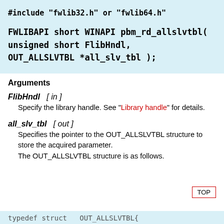#include "fwlib32.h" or "fwlib64.h"

FWLIBAPI short WINAPI pbm_rd_allslvtbl(
unsigned short FlibHndl,
OUT_ALLSLVTBL *all_slv_tbl );
Arguments
FlibHndl   [ in ]
Specify the library handle. See "Library handle" for details.
all_slv_tbl   [ out ]
Specifies the pointer to the OUT_ALLSLVTBL structure to store the acquired parameter. The OUT_ALLSLVTBL structure is as follows.
TOP
typedef struct   OUT_ALLSLVTBL{